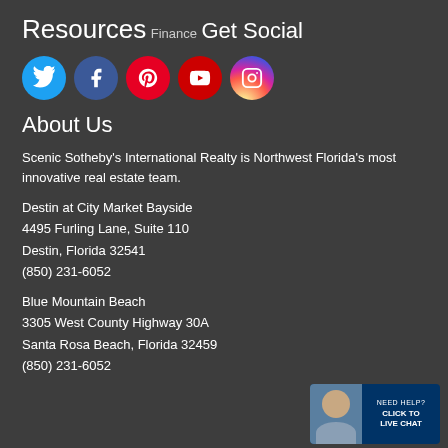Resources
Finance
Get Social
[Figure (infographic): Social media icons: Twitter (blue circle), Facebook (dark blue circle), Pinterest (red circle), YouTube (red circle), Instagram (gradient pink/purple circle)]
About Us
Scenic Sotheby's International Realty is Northwest Florida's most innovative real estate team.
Destin at City Market Bayside
4495 Furling Lane, Suite 110
Destin, Florida 32541
(850) 231-6052
Blue Mountain Beach
3305 West County Highway 30A
Santa Rosa Beach, Florida 32459
(850) 231-6052
[Figure (other): Live chat widget with agent photo, text: NEED HELP? CLICK TO LIVE CHAT]